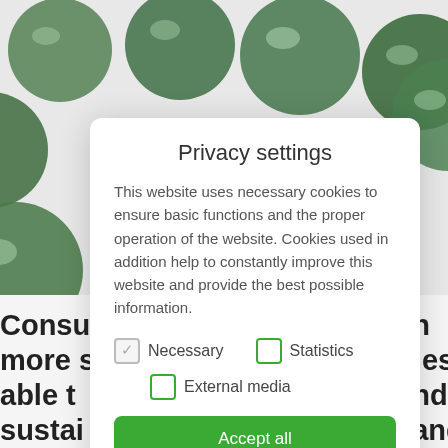[Figure (photo): Background photo of green jade/stone beads bracelet on a white surface, with partial bold text visible behind a privacy settings modal dialog.]
Privacy settings
This website uses necessary cookies to ensure basic functions and the proper operation of the website. Cookies used in addition help to constantly improve this website and provide the best possible information.
Necessary
Statistics
External media